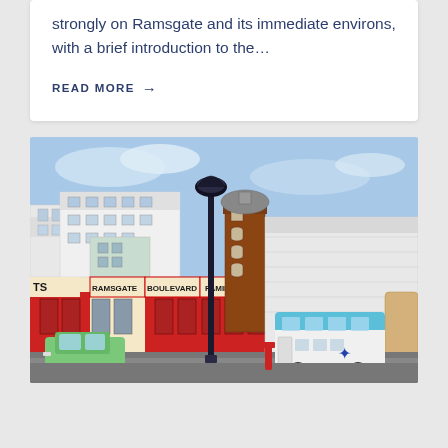strongly on Ramsgate and its immediate environs, with a brief introduction to the…
READ MORE →
[Figure (photo): Street-level photograph of Ramsgate seafront showing the Ramsgate Boulevard building with red facade, a brick clock tower, a black lamp post, a white and blue vintage bus, a green small car, and other seafront structures under a partly cloudy blue sky.]